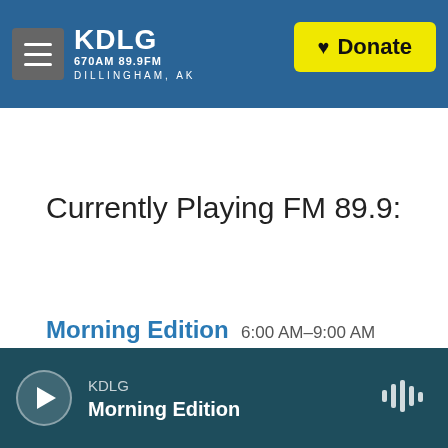KDLG 670AM 89.9FM DILLINGHAM, AK — Donate
Currently Playing FM 89.9:
Morning Edition 6:00 AM–9:00 AM
Up Next: Democracy Now!
KDLG Morning Edition